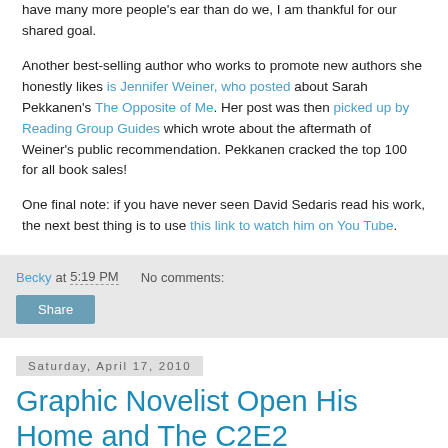have many more people's ear than do we, I am thankful for our shared goal.

Another best-selling author who works to promote new authors she honestly likes is Jennifer Weiner, who posted about Sarah Pekkanen's The Opposite of Me. Her post was then picked up by Reading Group Guides which wrote about the aftermath of Weiner's public recommendation. Pekkanen cracked the top 100 for all book sales!

One final note: if you have never seen David Sedaris read his work, the next best thing is to use this link to watch him on You Tube.
Becky at 5:19 PM    No comments:
Share
Saturday, April 17, 2010
Graphic Novelist Open His Home and The C2E2 Convention